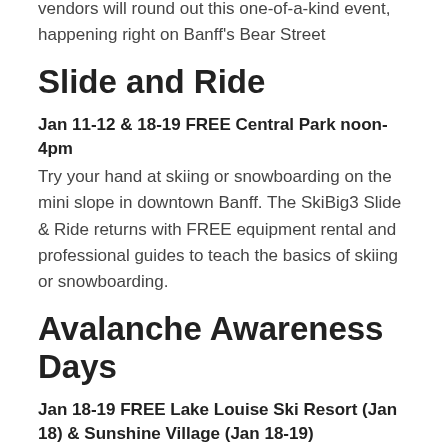vendors will round out this one-of-a-kind event, happening right on Banff's Bear Street
Slide and Ride
Jan 11-12 & 18-19 FREE Central Park noon-4pm Try your hand at skiing or snowboarding on the mini slope in downtown Banff. The SkiBig3 Slide & Ride returns with FREE equipment rental and professional guides to teach the basics of skiing or snowboarding.
Avalanche Awareness Days
Jan 18-19 FREE Lake Louise Ski Resort (Jan 18) & Sunshine Village (Jan 18-19) Championing ski safety, Lake Louise Ski Resort and Sunshine Village will be offering FREE avalanche awareness days at the resorts.